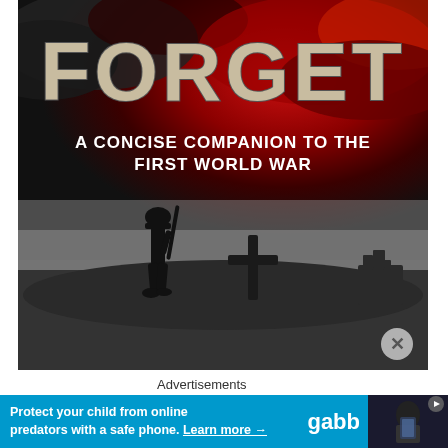[Figure (illustration): Book cover for 'Lest We Forget: A Concise Companion to the First World War'. Features dramatic red and dark cloudy sky, silhouette of a WWI soldier with a rifle next to a cross grave marker on a hill, in black and white against the vivid sky. Title text 'FORGET' in large distressed lettering and subtitle 'A CONCISE COMPANION TO THE FIRST WORLD WAR' in white bold text.]
Advertisements
[Figure (screenshot): Advertisement banner for Gabb phone. Blue background with white text reading 'Protect your child from online predators with a safe phone. Learn more →' with 'gabb' brand name. Right side shows a dark photo of a child using a phone.]